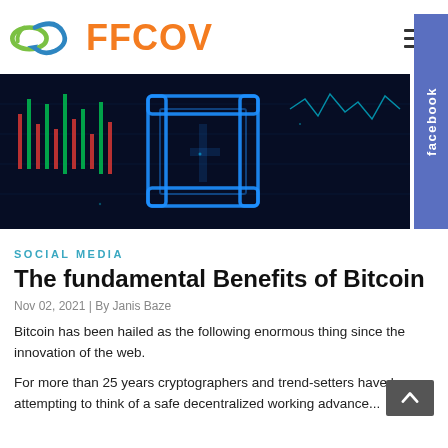[Figure (logo): FFCOV logo with green and blue infinity-style symbol and orange FFCOV text]
[Figure (photo): Dark blue digital cryptocurrency banner with neon blue Bitcoin plus symbol and candlestick chart elements]
SOCIAL MEDIA
The fundamental Benefits of Bitcoin
Nov 02, 2021 | By Janis Baze
Bitcoin has been hailed as the following enormous thing since the innovation of the web.
For more than 25 years cryptographers and trend-setters have been attempting to think of a safe decentralized working advance...